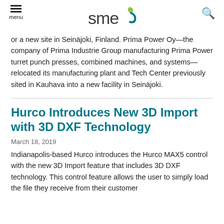SME menu / logo / search
or a new site in Seinäjoki, Finland. Prima Power Oy—the company of Prima Industrie Group manufacturing Prima Power turret punch presses, combined machines, and systems—relocated its manufacturing plant and Tech Center previously sited in Kauhava into a new facility in Seinäjoki.
Hurco Introduces New 3D Import with 3D DXF Technology
March 18, 2019
Indianapolis-based Hurco introduces the Hurco MAX5 control with the new 3D Import feature that includes 3D DXF technology. This control feature allows the user to simply load the file they receive from their customer